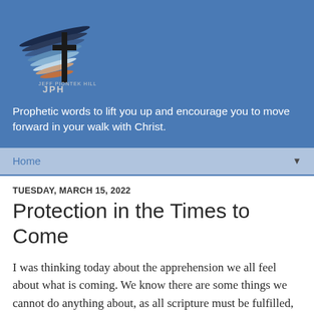[Figure (logo): Wings and cross logo with text JPH and small text above it]
Prophetic words to lift you up and encourage you to move forward in your walk with Christ.
Home
TUESDAY, MARCH 15, 2022
Protection in the Times to Come
I was thinking today about the apprehension we all feel about what is coming. We know there are some things we cannot do anything about, as all scripture must be fulfilled, but there are others we can affect, and should.